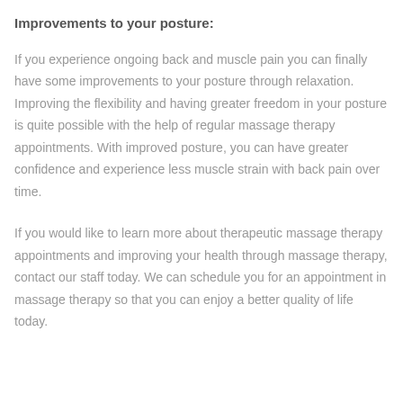Improvements to your posture:
If you experience ongoing back and muscle pain you can finally have some improvements to your posture through relaxation. Improving the flexibility and having greater freedom in your posture is quite possible with the help of regular massage therapy appointments. With improved posture, you can have greater confidence and experience less muscle strain with back pain over time.
If you would like to learn more about therapeutic massage therapy appointments and improving your health through massage therapy, contact our staff today. We can schedule you for an appointment in massage therapy so that you can enjoy a better quality of life today.